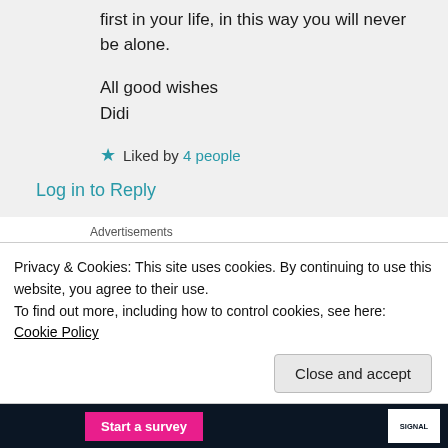first in your life, in this way you will never be alone.
All good wishes
Didi
Liked by 4 people
Log in to Reply
Advertisements
[Figure (logo): WordPress logo on dark navy background banner]
Privacy & Cookies: This site uses cookies. By continuing to use this website, you agree to their use.
To find out more, including how to control cookies, see here: Cookie Policy
Close and accept
Start a survey